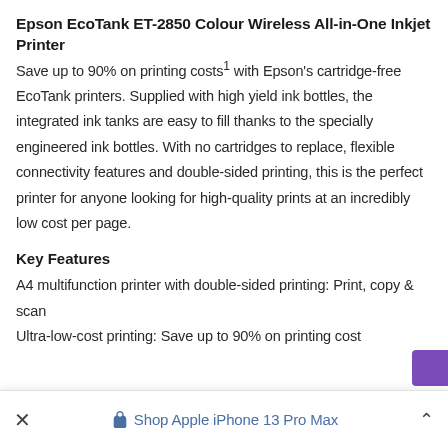Epson EcoTank ET-2850 Colour Wireless All-in-One Inkjet Printer
Save up to 90% on printing costs1 with Epson's cartridge-free EcoTank printers. Supplied with high yield ink bottles, the integrated ink tanks are easy to fill thanks to the specially engineered ink bottles. With no cartridges to replace, flexible connectivity features and double-sided printing, this is the perfect printer for anyone looking for high-quality prints at an incredibly low cost per page.
Key Features
A4 multifunction printer with double-sided printing: Print, copy & scan
Ultra-low-cost printing: Save up to 90% on printing cost
× Shop Apple iPhone 13 Pro Max ∧